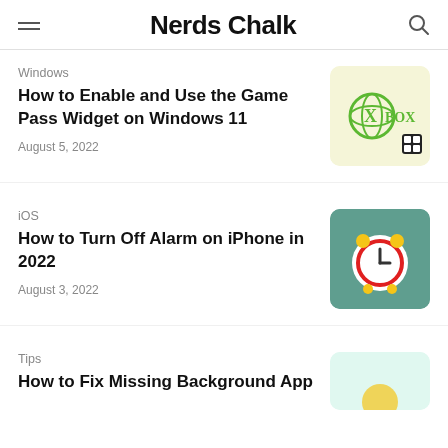Nerds Chalk
Windows
How to Enable and Use the Game Pass Widget on Windows 11
August 5, 2022
[Figure (illustration): Xbox logo on a light yellow background with a small widget/grid icon overlay]
iOS
How to Turn Off Alarm on iPhone in 2022
August 3, 2022
[Figure (illustration): Alarm clock emoji icon on a teal/green background]
Tips
How to Fix Missing Background App